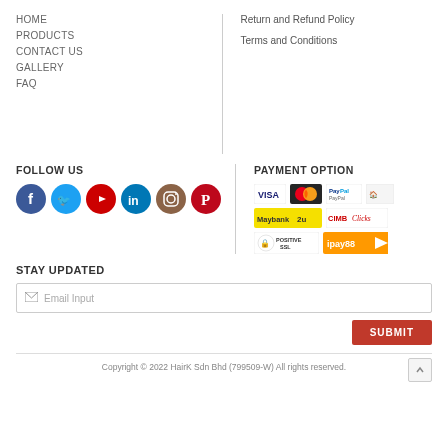HOME
PRODUCTS
CONTACT US
GALLERY
FAQ
Return and Refund Policy
Terms and Conditions
FOLLOW US
[Figure (infographic): Social media icons: Facebook, Twitter, YouTube, LinkedIn, Instagram, Pinterest]
PAYMENT OPTION
[Figure (infographic): Payment logos: VISA, MasterCard, PayPal, FPX/online banking, Maybank2u, CIMB Clicks, Positive SSL, iPay88]
STAY UPDATED
Email Input
SUBMIT
Copyright © 2022 HairK Sdn Bhd (799509-W) All rights reserved.